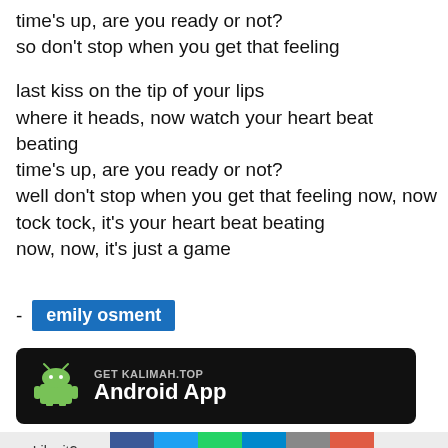time's up, are you ready or not?
so don't stop when you get that feeling

last kiss on the tip of your lips
where it heads, now watch your heart beat beating
time's up, are you ready or not?
well don't stop when you get that feeling now, now
tock tock, it's your heart beat beating
now, now, it's just a game
- emily osment
[Figure (infographic): Black banner with Android robot icon, text GET KALIMAH.TOP and Android App]
[Figure (infographic): Share bar with Like it? Share it! text and social media buttons: Facebook, Twitter, WhatsApp, Telegram, Email, Plus]
[Figure (infographic): Footer ad banner: g*t BORED?? Let's play GRAMMARQUIZ.NET with woman photo]